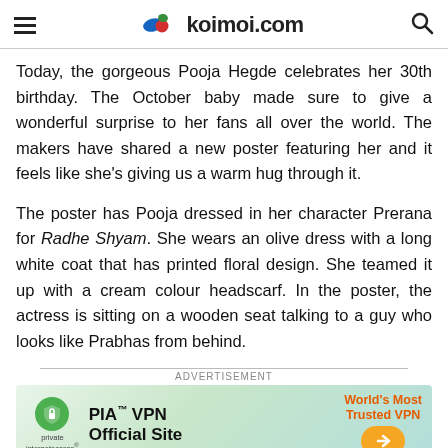koimoi.com
Today, the gorgeous Pooja Hegde celebrates her 30th birthday. The October baby made sure to give a wonderful surprise to her fans all over the world. The makers have shared a new poster featuring her and it feels like she’s giving us a warm hug through it.
The poster has Pooja dressed in her character Prerana for Radhe Shyam. She wears an olive dress with a long white coat that has printed floral design. She teamed it up with a cream colour headscarf. In the poster, the actress is sitting on a wooden seat talking to a guy who looks like Prabhas from behind.
[Figure (infographic): PIA VPN advertisement banner with green shield logo, 'PIA™ VPN Official Site' text, 'World's Most Trusted VPN' text in orange, and an orange arrow button]